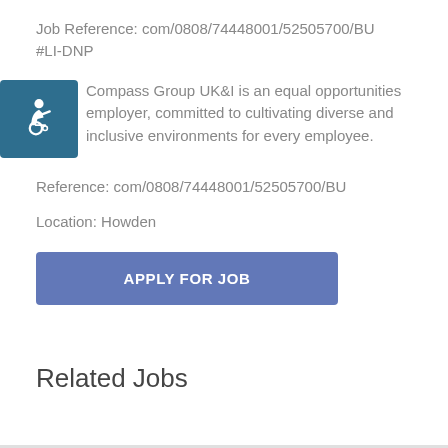Job Reference: com/0808/74448001/52505700/BU
#LI-DNP
Compass Group UK&I is an equal opportunities employer, committed to cultivating diverse and inclusive environments for every employee.
Reference: com/0808/74448001/52505700/BU
Location: Howden
APPLY FOR JOB
Related Jobs